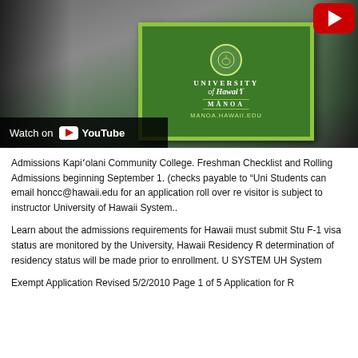[Figure (photo): Group of students standing outdoors near a University of Hawai'i at Manoa green sign showing the UH seal and MANOA.HAWAII.EDU URL. A YouTube play button overlay is visible in the top right, and a 'Watch on YouTube' bar is at the bottom left.]
Admissions Kapi'olani Community College. Freshman Checklist and Rolling Admissions beginning September 1. (checks payable to "Uni... Students can email honcc@hawaii.edu for an application roll over re... visitor is subject to instructor University of Hawaii System..
Learn about the admissions requirements for Hawaii must submit Stu... F-1 visa status are monitored by the University, Hawaii Residency R... determination of residency status will be made prior to enrollment. U... SYSTEM UH System
Exempt Application Revised 5/2/2010 Page 1 of 5 Application for R...